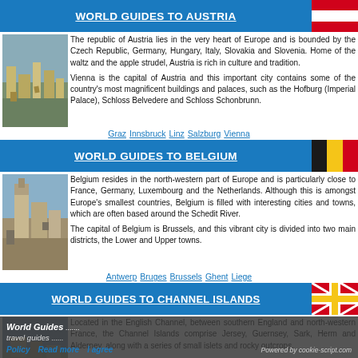WORLD GUIDES TO AUSTRIA
[Figure (photo): Aerial view of Austrian city/town]
The republic of Austria lies in the very heart of Europe and is bounded by the Czech Republic, Germany, Hungary, Italy, Slovakia and Slovenia. Home of the waltz and the apple strudel, Austria is rich in culture and tradition.

Vienna is the capital of Austria and this important city contains some of the country's most magnificent buildings and palaces, such as the Hofburg (Imperial Palace), Schloss Belvedere and Schloss Schonbrunn.
Graz Innsbruck Linz Salzburg Vienna
WORLD GUIDES TO BELGIUM
[Figure (photo): Photo of Belgian city]
Belgium resides in the north-western part of Europe and is particularly close to France, Germany, Luxembourg and the Netherlands. Although this is amongst Europe's smallest countries, Belgium is filled with interesting cities and towns, which are often based around the Schedit River.

The capital of Belgium is Brussels, and this vibrant city is divided into two main districts, the Lower and Upper towns.
Antwerp Bruges Brussels Ghent Liege
WORLD GUIDES TO CHANNEL ISLANDS
[Figure (photo): Photo of Channel Islands]
Located in the English Channel, between southern England and north-western France, the Channel Islands comprise Jersey, Guernsey, Sark, Herm and Alderney, along with a series of small islets and rocky outcrops.
Jersey and Guernsey are the biggest and most visited of the
World Guides ... travel guides ... Policy Read more  I agree  Powered by cookie-script.com